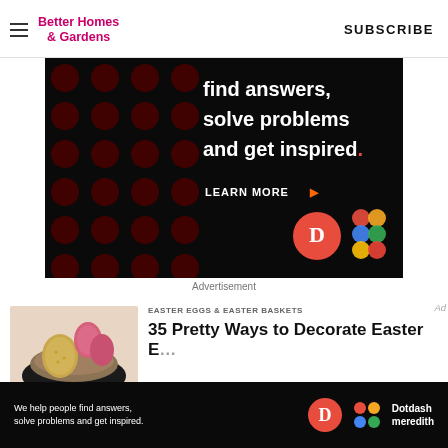Better Homes & Gardens | SUBSCRIBE
[Figure (screenshot): Dark advertisement banner with text 'find answers, solve problems and get inspired.' with LEARN MORE button and Dotdash Meredith logos]
Advertisement
EASTER EGGS & EASTER BASKETS
35 Pretty Ways to Decorate Easter E...
[Figure (photo): Easter eggs in a nest/bowl with gold glitter and pink eggs]
[Figure (screenshot): Bottom Dotdash Meredith advertisement bar: 'We help people find answers, solve problems and get inspired.']